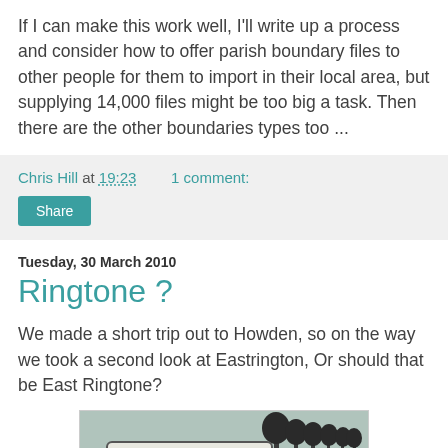If I can make this work well, I'll write up a process and consider how to offer parish boundary files to other people for them to import in their local area, but supplying 14,000 files might be too big a task. Then there are the other boundaries types too ...
Chris Hill at 19:23    1 comment:
Share
Tuesday, 30 March 2010
Ringtone ?
We made a short trip out to Howden, so on the way we took a second look at Eastrington, Or should that be East Ringtone?
[Figure (photo): Photograph of an Eastrington village sign with trees in the background]